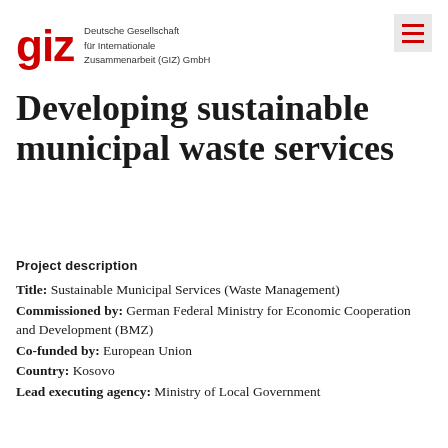giz — Deutsche Gesellschaft für Internationale Zusammenarbeit (GIZ) GmbH
Developing sustainable municipal waste services
Project description
Title: Sustainable Municipal Services (Waste Management)
Commissioned by: German Federal Ministry for Economic Cooperation and Development (BMZ)
Co-funded by: European Union
Country: Kosovo
Lead executing agency: Ministry of Local Government